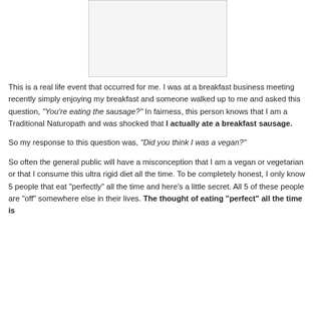[Figure (other): A white/light gray rectangular image placeholder]
This is a real life event that occurred for me. I was at a breakfast business meeting recently simply enjoying my breakfast and someone walked up to me and asked this question, "You're eating the sausage?" In fairness, this person knows that I am a Traditional Naturopath and was shocked that I actually ate a breakfast sausage.
So my response to this question was, "Did you think I was a vegan?"
So often the general public will have a misconception that I am a vegan or vegetarian or that I consume this ultra rigid diet all the time. To be completely honest, I only know 5 people that eat "perfectly" all the time and here's a little secret. All 5 of these people are "off" somewhere else in their lives. The thought of eating "perfect" all the time is